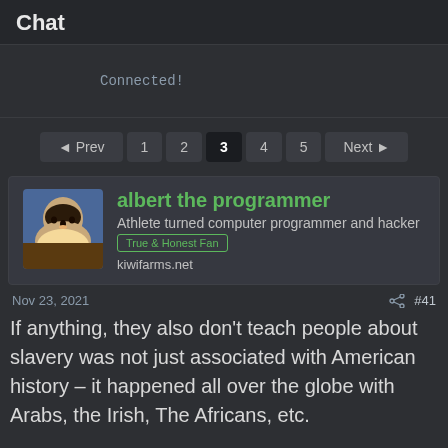Chat
Connected!
◄ Prev  1  2  3  4  5  Next ►
albert the programmer
Athlete turned computer programmer and hacker
kiwifarms.net
Nov 23, 2021  #41
If anything, they also don't teach people about slavery was not just associated with American history – it happened all over the globe with Arabs, the Irish, The Africans, etc.

I may not be the biggest expert on World History, but I miss the days when we were allowed to talk about the